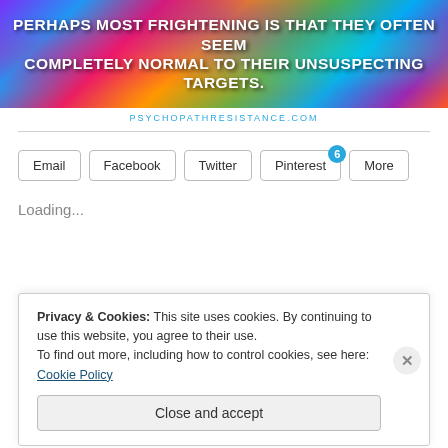[Figure (illustration): Colorful psychedelic banner image with bold white text overlaid: PERHAPS MOST FRIGHTENING IS THAT THEY OFTEN SEEM COMPLETELY NORMAL TO THEIR UNSUSPECTING TARGETS.]
PSYCHOPATHRESISTANCE.COM
Email
Facebook
Twitter
Pinterest 6
More
Loading...
Privacy & Cookies: This site uses cookies. By continuing to use this website, you agree to their use.
To find out more, including how to control cookies, see here: Cookie Policy
Close and accept